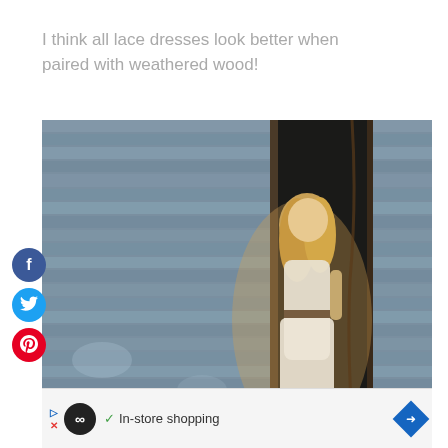I think all lace dresses look better when paired with weathered wood!
[Figure (photo): A blonde woman in a white lace dress with a brown belt standing in a doorway of a weathered wood barn, warm golden light, looking toward the camera.]
In-store shopping